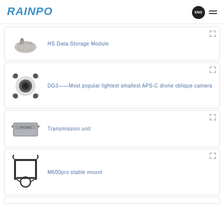RAINPOO / ENG
[Figure (photo): HS Data-Storage Module product image (USB flash drive style device)]
HS Data-Storage Module
[Figure (photo): DG3 oblique camera product image (round multi-lens drone camera)]
DG3——Most popular lightest smallest APS-C drone oblique camera
[Figure (photo): Transmission unit product image (rectangular electronic device)]
Transmission unit
[Figure (photo): M600pro stable mount product image (metal frame mounting bracket)]
M600pro stable mount